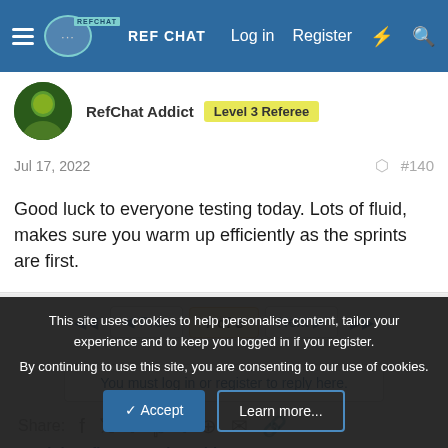RefChat | Log in | Register
RefChat Addict  Level 3 Referee
Jul 17, 2022  #140
Good luck to everyone testing today. Lots of fluid, makes sure you warm up efficiently as the sprints are first.
◄◄  ◄ Prev  7 of 8  Next ►  ►►
You must log in or register to reply here.
Share:
Training, fitness and nutrition
This site uses cookies to help personalise content, tailor your experience and to keep you logged in if you register.
By continuing to use this site, you are consenting to our use of cookies.